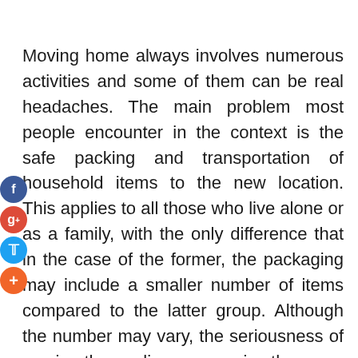Moving home always involves numerous activities and some of them can be real headaches. The main problem most people encounter in the context is the safe packing and transportation of household items to the new location. This applies to all those who live alone or as a family, with the only difference that in the case of the former, the packaging may include a smaller number of items compared to the latter group. Although the number may vary, the seriousness of moving the appliances remains the same and therefore must be carefully controlled by the owner.